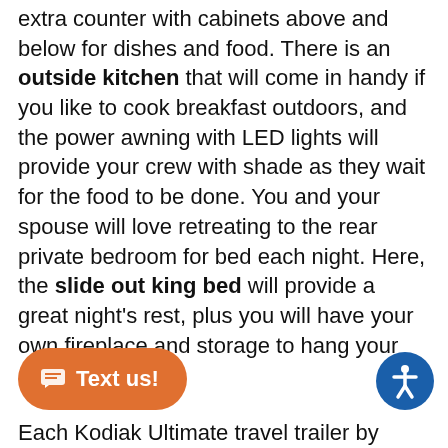extra counter with cabinets above and below for dishes and food. There is an outside kitchen that will come in handy if you like to cook breakfast outdoors, and the power awning with LED lights will provide your crew with shade as they wait for the food to be done. You and your spouse will love retreating to the rear private bedroom for bed each night. Here, the slide out king bed will provide a great night's rest, plus you will have your own fireplace and storage to hang your clothes!
Each Kodiak Ultimate travel trailer by Dutchmen is constructed with a laminated crowned roof, a gel coat high gloss fiberglass exterior, and diamond plate front rock guard to protect your RV from rock and way to the campground. The hybrid ry steps are not only dependably, but they collapse and expand quickly so you can get on the road in no-time! These models feature